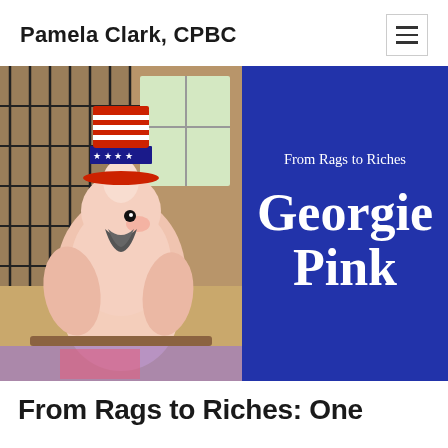Pamela Clark, CPBC
[Figure (photo): A pink cockatoo (salmon-crested moluccan cockatoo) wearing a small red, white and blue patriotic Uncle Sam top hat, posed in front of a black cage, indoors with a wooden floor and window in the background.]
From Rags to Riches
Georgie Pink
From Rags to Riches: One